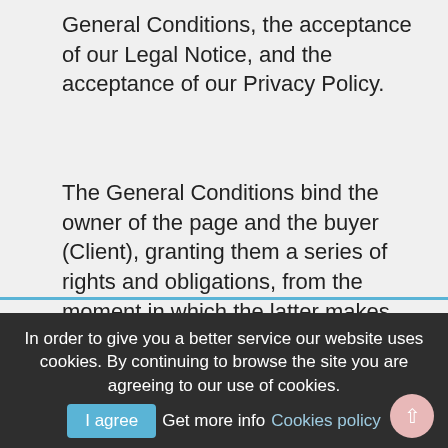General Conditions, the acceptance of our Legal Notice, and the acceptance of our Privacy Policy.
The General Conditions bind the owner of the page and the buyer (Client), granting them a series of rights and obligations, from the moment in which the latter makes and accepts an order through this page. They are obligatory and knowledgeable by both parties, so their acceptance is essential to be able to formalize an order. Therefore, the Client must read these Conditions carefully.
In order to give you a better service our website uses cookies. By continuing to browse the site you are agreeing to our use of cookies. I agree Get more info Cookies policy